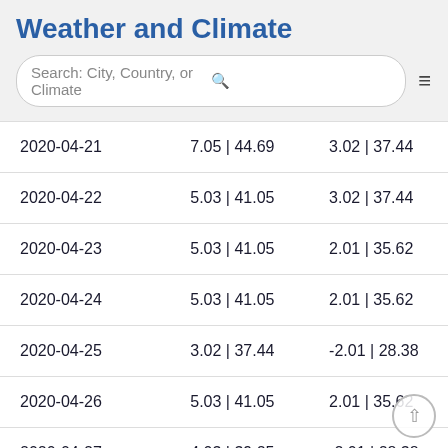Weather and Climate
[Figure (other): Search bar with text 'Search: City, Country, or Climate' and a hamburger menu icon]
| 2020-04-21 | 7.05 | 44.69 | 3.02 | 37.44 |
| 2020-04-22 | 5.03 | 41.05 | 3.02 | 37.44 |
| 2020-04-23 | 5.03 | 41.05 | 2.01 | 35.62 |
| 2020-04-24 | 5.03 | 41.05 | 2.01 | 35.62 |
| 2020-04-25 | 3.02 | 37.44 | -2.01 | 28.38 |
| 2020-04-26 | 5.03 | 41.05 | 2.01 | 35.62 |
| 2020-04-27 | 4.03 | 39.25 | -2.01 | 28.38 |